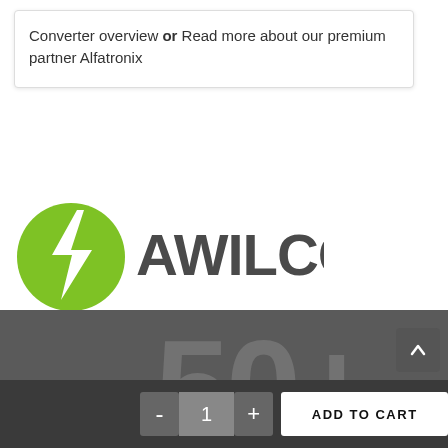Converter overview or Read more about our premium partner Alfatronix
[Figure (logo): Awilco logo: green circle with white lightning bolt and 'AWILCO' text in dark grey]
[Figure (infographic): Dark grey banner with large '50+' text and 'YEARS OF INNOVATION' text in light grey italic]
ADD TO CART